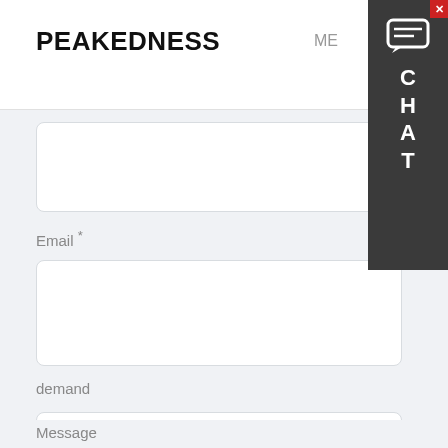PEAKEDNESS
ME
Email *
demand
Message